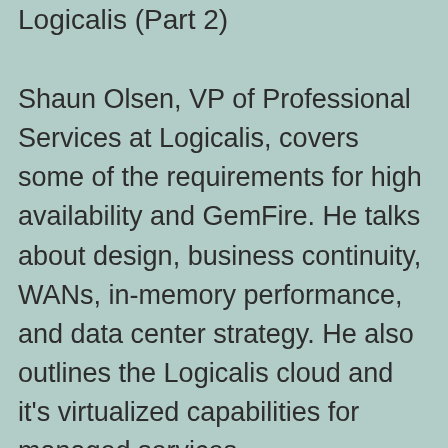Logicalis (Part 2)
Shaun Olsen, VP of Professional Services at Logicalis, covers some of the requirements for high availability and GemFire. He talks about design, business continuity, WANs, in-memory performance, and data center strategy. He also outlines the Logicalis cloud and it's virtualized capabilities for managed services.